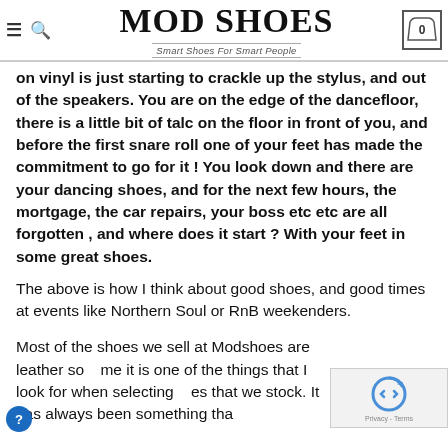MOD SHOES — Smart Shoes For Smart People
on vinyl is just starting to crackle up the stylus, and out of the speakers. You are on the edge of the dancefloor, there is a little bit of talc on the floor in front of you, and before the first snare roll one of your feet has made the commitment to go for it ! You look down and there are your dancing shoes, and for the next few hours, the mortgage, the car repairs, your boss etc etc are all forgotten , and where does it start ? With your feet in some great shoes.
The above is how I think about good shoes, and good times at events like Northern Soul or RnB weekenders.
Most of the shoes we sell at Modshoes are leather so... me it is one of the things that I look for when selecting... es that we stock. It has always been something tha...